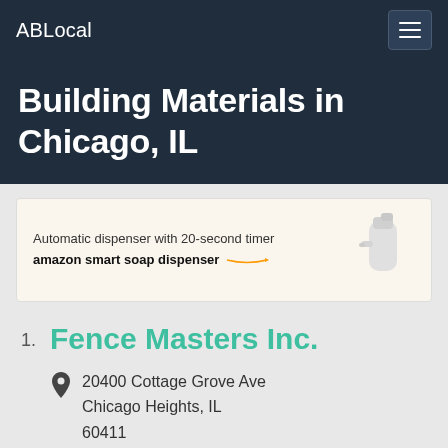ABLocal
Building Materials in Chicago, IL
[Figure (screenshot): Amazon smart soap dispenser advertisement banner with text 'Automatic dispenser with 20-second timer' and 'amazon smart soap dispenser' with product image]
1. Fence Masters Inc.
20400 Cottage Grove Ave
Chicago Heights, IL
60411
(708) 758-5250